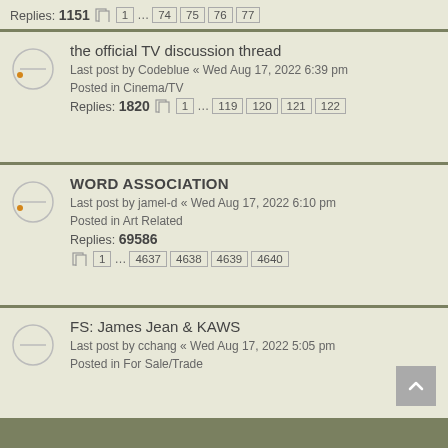Replies: 1151   1 ... 74 75 76 77
the official TV discussion thread
Last post by Codeblue « Wed Aug 17, 2022 6:39 pm
Posted in Cinema/TV
Replies: 1820   1 ... 119 120 121 122
WORD ASSOCIATION
Last post by jamel-d « Wed Aug 17, 2022 6:10 pm
Posted in Art Related
Replies: 69586   1 ... 4637 4638 4639 4640
FS: James Jean & KAWS
Last post by cchang « Wed Aug 17, 2022 5:05 pm
Posted in For Sale/Trade